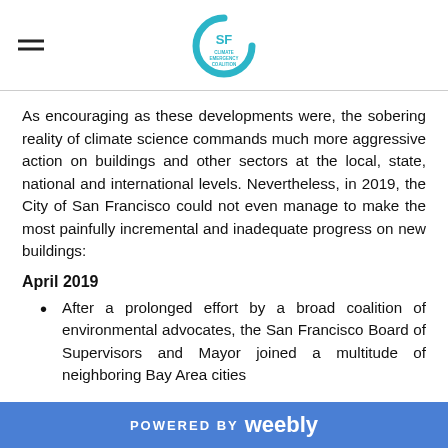SF Climate Emergency Coalition logo
As encouraging as these developments were, the sobering reality of climate science commands much more aggressive action on buildings and other sectors at the local, state, national and international levels. Nevertheless, in 2019, the City of San Francisco could not even manage to make the most painfully incremental and inadequate progress on new buildings:
April 2019
After a prolonged effort by a broad coalition of environmental advocates, the San Francisco Board of Supervisors and Mayor joined a multitude of neighboring Bay Area cities
POWERED BY weebly